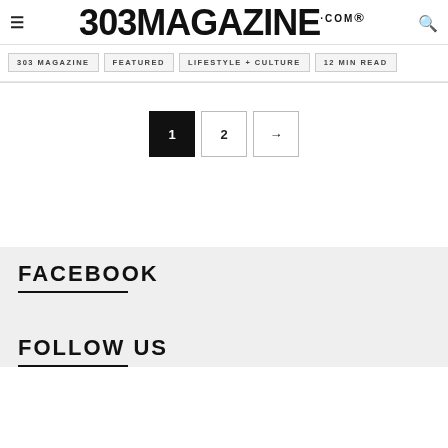303 MAGAZINE .COM ®
303 MAGAZINE
FEATURED
LIFESTYLE + CULTURE
12 MIN READ
1 2 →
FACEBOOK
FOLLOW US